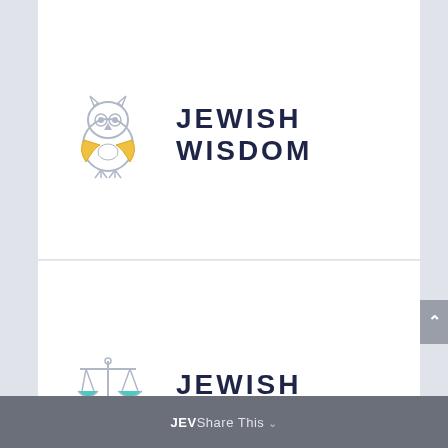[Figure (logo): Owl icon with yellow/gold wing highlights and gray outlines]
JEWISH WISDOM
[Figure (logo): Balance scales icon with teal/cyan pan highlights and gray outlines]
JEWISH VALUES
ISRAEL
JEVShare This